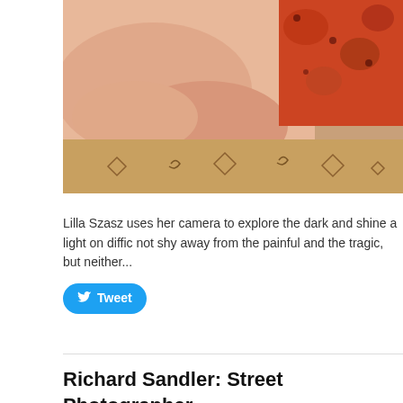[Figure (photo): Close-up photo of a baby lying on a tan/beige patterned sofa with orange floral fabric visible in the upper right corner. The baby's hands and arms are visible resting on the sofa cushion.]
Lilla Szasz uses her camera to explore the dark and shine a light on diffic not shy away from the painful and the tragic, but neither...
Richard Sandler: Street Photographer